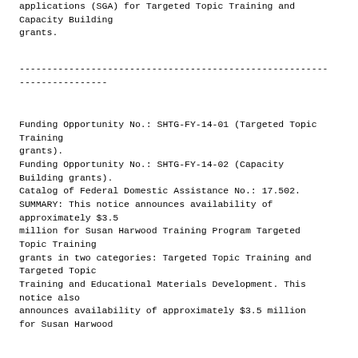applications (SGA) for Targeted Topic Training and Capacity Building grants.
----------------------------------------------------------------------------------------------------------------------------------------
Funding Opportunity No.: SHTG-FY-14-01 (Targeted Topic Training grants).
Funding Opportunity No.: SHTG-FY-14-02 (Capacity Building grants).
Catalog of Federal Domestic Assistance No.: 17.502.
SUMMARY: This notice announces availability of approximately $3.5 million for Susan Harwood Training Program Targeted Topic Training grants in two categories: Targeted Topic Training and Targeted Topic Training and Educational Materials Development. This notice also announces availability of approximately $3.5 million for Susan Harwood